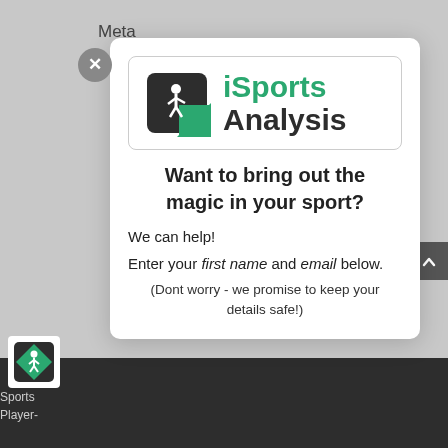Meta
[Figure (logo): iSports Analysis logo — dark grey/black diamond shape with white figure athlete silhouette and green accent, next to text 'iSports Analysis' in green and dark grey bold font]
Want to bring out the magic in your sport?
We can help!
Enter your first name and email below.
(Dont worry - we promise to keep your details safe!)